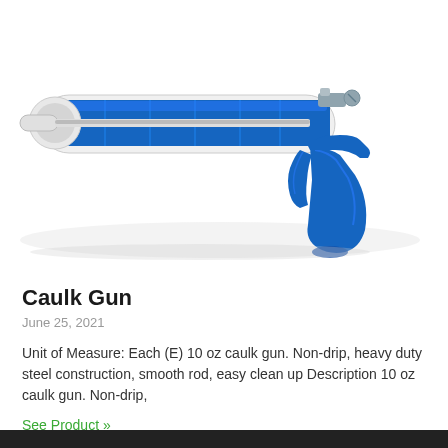[Figure (photo): A blue and white caulk gun with a smooth rod and trigger mechanism, positioned diagonally on a white background.]
Caulk Gun
June 25, 2021
Unit of Measure: Each (E) 10 oz caulk gun. Non-drip, heavy duty steel construction, smooth rod, easy clean up Description 10 oz caulk gun. Non-drip,
See Product »